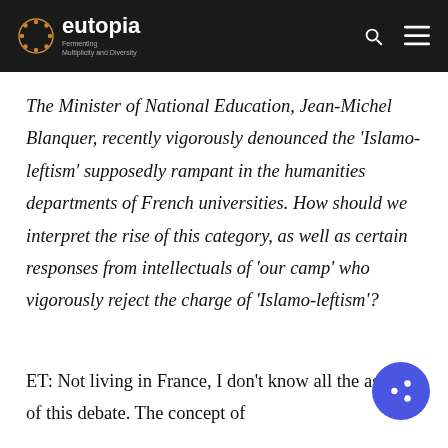eutopia — Fermenting Multiplicity and Diversity
The Minister of National Education, Jean-Michel Blanquer, recently vigorously denounced the 'Islamo-leftism' supposedly rampant in the humanities departments of French universities. How should we interpret the rise of this category, as well as certain responses from intellectuals of 'our camp' who vigorously reject the charge of 'Islamo-leftism'?
ET: Not living in France, I don't know all the aspects of this debate. The concept of